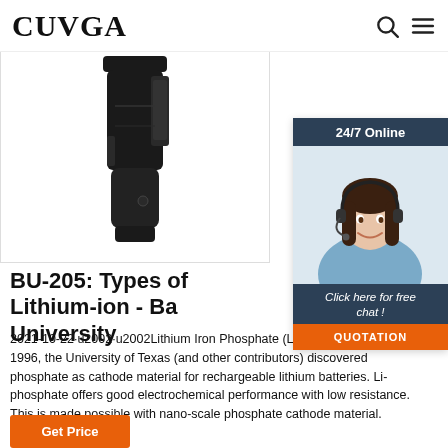CUVGA
[Figure (photo): Product photo of a black tactical holster/accessory against a white background]
[Figure (photo): Chat widget showing a customer service representative with headset, '24/7 Online' banner, 'Click here for free chat!' text, and orange QUOTATION button]
BU-205: Types of Lithium-ion - Ba... University
2021-10-22·u2002·u2002Lithium Iron Phosphate (LiFePO 4) — LFP. In 1996, the University of Texas (and other contributors) discovered phosphate as cathode material for rechargeable lithium batteries. Li-phosphate offers good electrochemical performance with low resistance. This is made possible with nano-scale phosphate cathode material.
Get Price